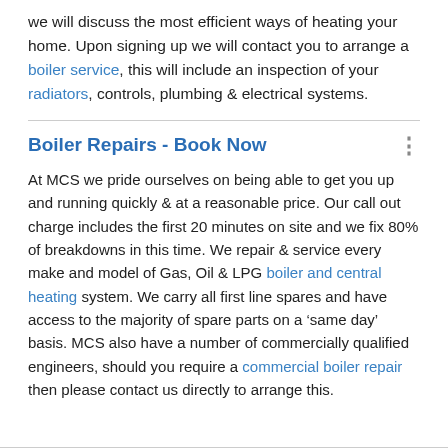we will discuss the most efficient ways of heating your home. Upon signing up we will contact you to arrange a boiler service, this will include an inspection of your radiators, controls, plumbing & electrical systems.
Boiler Repairs - Book Now
At MCS we pride ourselves on being able to get you up and running quickly & at a reasonable price. Our call out charge includes the first 20 minutes on site and we fix 80% of breakdowns in this time. We repair & service every make and model of Gas, Oil & LPG boiler and central heating system. We carry all first line spares and have access to the majority of spare parts on a 'same day' basis. MCS also have a number of commercially qualified engineers, should you require a commercial boiler repair then please contact us directly to arrange this.